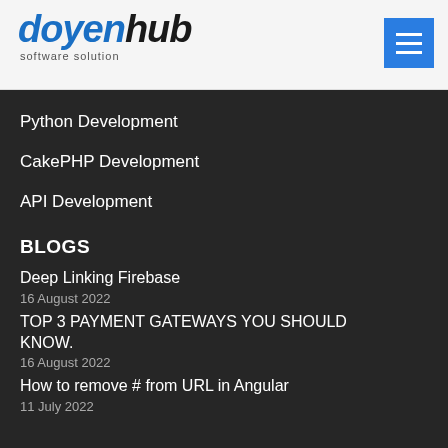doyenhub software solution
Python Development
CakePHP Development
API Development
BLOGS
Deep Linking Firebase
16 August 2022
TOP 3 PAYMENT GATEWAYS YOU SHOULD KNOW.
16 August 2022
How to remove # from URL in Angular
11 July 2022